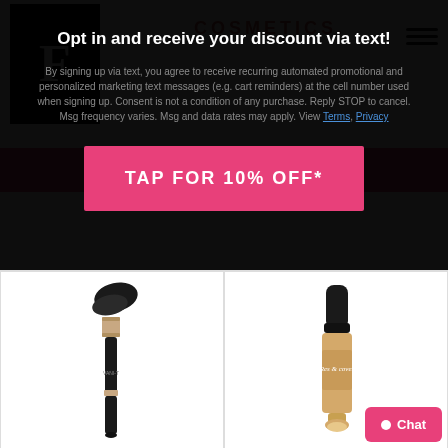[Figure (screenshot): Cosmetics website screenshot with popup modal offering 10% off via text opt-in, showing navigation header with partial 'F' logo, COSMETICS. branding, hamburger menu, and two product images below (makeup brush and concealer)]
Opt in and receive your discount via text!
By signing up via text, you agree to receive recurring automated promotional and personalized marketing text messages (e.g. cart reminders) at the cell number used when signing up. Consent is not a condition of any purchase. Reply STOP to cancel. Msg frequency varies. Msg and data rates may apply. View Terms, Privacy
TAP FOR 10% OFF*
[Figure (photo): Makeup brush with angled black bristles and rose gold/black handle]
[Figure (photo): Concealer bottle with black cap and beige/tan product, labeled with cursive text]